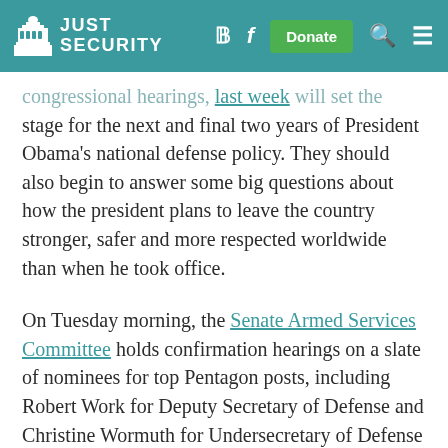JUST SECURITY
congressional hearings that will set the stage for the next and final two years of President Obama's national defense policy. They should also begin to answer some big questions about how the president plans to leave the country stronger, safer and more respected worldwide than when he took office.
On Tuesday morning, the Senate Armed Services Committee holds confirmation hearings on a slate of nominees for top Pentagon posts, including Robert Work for Deputy Secretary of Defense and Christine Wormuth for Undersecretary of Defense for